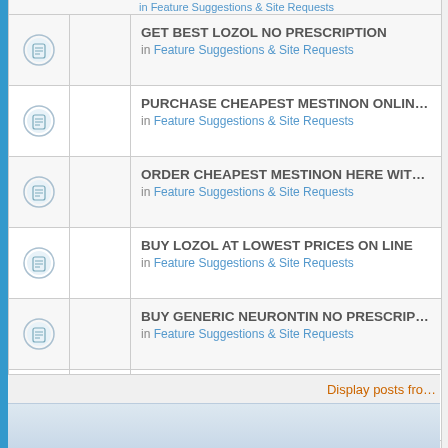GET BEST LOZOL NO PRESCRIPTION
in Feature Suggestions & Site Requests
PURCHASE CHEAPEST MESTINON ONLINE NO PRESCRIPTION
in Feature Suggestions & Site Requests
ORDER CHEAPEST MESTINON HERE WITHOUT PRESCRIPTION
in Feature Suggestions & Site Requests
BUY LOZOL AT LOWEST PRICES ON LINE
in Feature Suggestions & Site Requests
BUY GENERIC NEURONTIN NO PRESCRIPTION
in Feature Suggestions & Site Requests
tramadol and aspirin for lyme pain tramadol for dagos tra...
in Feature Suggestions & Site Requests
GET CHEAP Ritonavir HERE TODAY
in Feature Suggestions & Site Requests
narcotic interaction coumadin metronidazole
in Feature Suggestions & Site Requests
keywords tramadol does tramadol show up as codeine buy...
in Feature Suggestions & Site Requests
ORDER Ritonavir AT LOWEST PRICES NO PRESCRIPTION
in Feature Suggestions & Site Requests
Display posts fro...